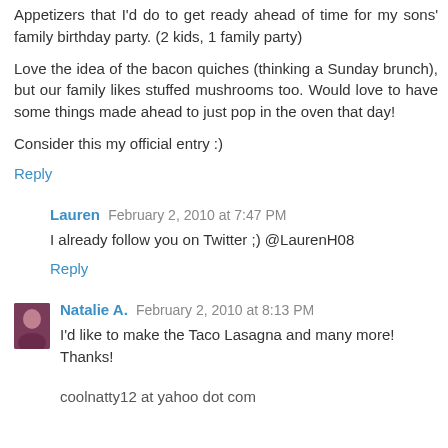Appetizers that I'd do to get ready ahead of time for my sons' family birthday party. (2 kids, 1 family party)
Love the idea of the bacon quiches (thinking a Sunday brunch), but our family likes stuffed mushrooms too. Would love tohave some things made ahead to just pop in the oven that day!
Consider this my official entry :)
Reply
Lauren  February 2, 2010 at 7:47 PM
I already follow you on Twitter ;) @LaurenH08
Reply
Natalie A.  February 2, 2010 at 8:13 PM
I'd like to make the Taco Lasagna and many more! Thanks!
coolnatty12 at yahoo dot com